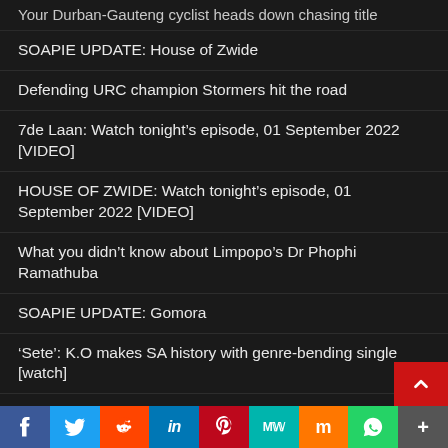Your Durban-Gauteng cyclist heads down chasing title
SOAPIE UPDATE: House of Zwide
Defending URC champion Stormers hit the road
7de Laan: Watch tonight's episode, 01 September 2022 [VIDEO]
HOUSE OF ZWIDE: Watch tonight's episode, 01 September 2022 [VIDEO]
What you didn't know about Limpopo's Dr Phophi Ramathuba
SOAPIE UPDATE: Gomora
'Sete': K.O makes SA history with genre-bending single [watch]
Domestic worker robbed R500 at gunpoint
South Africa to introduce new circulation coins in 20…
[Figure (infographic): Social sharing bar with icons for Facebook, Twitter, Reddit, LinkedIn, Pinterest, MeWe, Mix, WhatsApp, More]